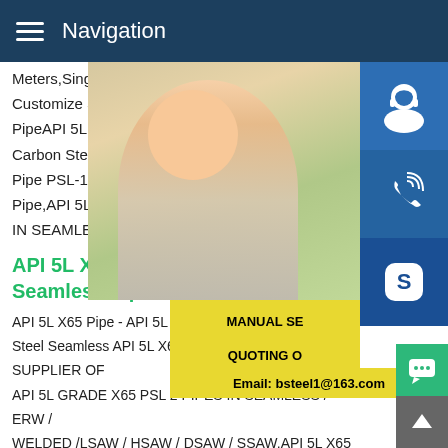Navigation
Meters,Single Random Length,Double Ra Customize Size.API 5L X65 Pipe Type Se PipeAPI 5L X65 PSL2 Seamless PipeAPI Carbon Steel Seamless Pipes API 5L X65 Pipe PSL-1/PSL-2,Carbon Steel Seamless Pipe,API 5L X65 SUPPLIER OF API 5L GR IN SEAMLESS / ERW / WELDED /LSAW
API 5L X65 PSL2 PipeAPI 5L Seamless PipeAPI
API 5L X65 Pipe - API 5L X65 PSL 2 Pipe Steel Seamless API 5L X65 PSL 2 Pipe,API 5L X65 SUPPLIER OF API 5L GRADE X65 PSL 2 PIPES IN SEAMLESS / ERW / WELDED /LSAW / HSAW / DSAW / SSAW.API 5L X65 PSL2 DSAW Pipe |API 5L Line PipeAPI 5L X65 PSL2 DSAW Pipe P 1/PSL-2 Seamless,ERW,HFW,LSAW,DSAW,HSAW/SSAW (S Welded) Line Pipe Suppliers stockist exporter importer of API